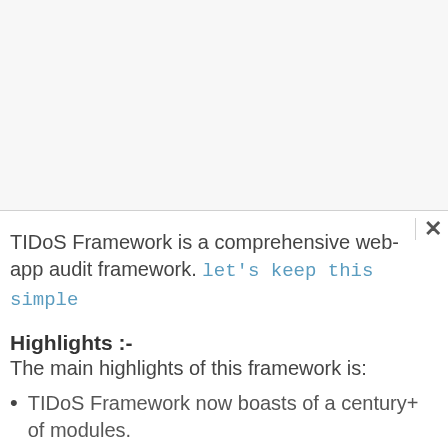TIDoS Framework is a comprehensive web-app audit framework. let's keep this simple
Highlights :-
The main highlights of this framework is:
TIDoS Framework now boasts of a century+ of modules.
A complete versatile framework to cover up everything from Reconnaissance to Vulnerability Analysis.